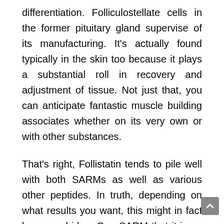differentiation. Folliculostellate cells in the former pituitary gland supervise of its manufacturing. It’s actually found typically in the skin too because it plays a substantial roll in recovery and adjustment of tissue. Not just that, you can anticipate fantastic muscle building associates whether on its very own or with other substances.
That’s right, Follistatin tends to pile well with both SARMs as well as various other peptides. In truth, depending on what results you want, this might in fact be a good idea. One SARM that it is an excellent set with is LGD 4033. This SARM assists to minimize recovery time in addition to boost your